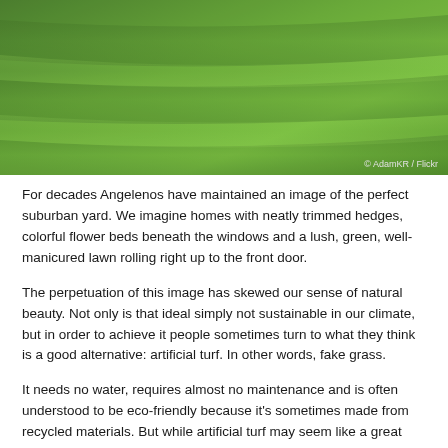[Figure (photo): Close-up photograph of lush green grass with mowing stripe patterns, photographed from above. Photo credit: © AdamKR / Flickr]
For decades Angelenos have maintained an image of the perfect suburban yard. We imagine homes with neatly trimmed hedges, colorful flower beds beneath the windows and a lush, green, well-manicured lawn rolling right up to the front door.
The perpetuation of this image has skewed our sense of natural beauty. Not only is that ideal simply not sustainable in our climate, but in order to achieve it people sometimes turn to what they think is a good alternative: artificial turf. In other words, fake grass.
It needs no water, requires almost no maintenance and is often understood to be eco-friendly because it's sometimes made from recycled materials. But while artificial turf may seem like a great alternative to traditional lawns in drought-stressed Los Angeles, the very option of a fake lawn distracts from far better sustainable landscapes. If your goal is a truly green lawn, fake grass isn't actually the